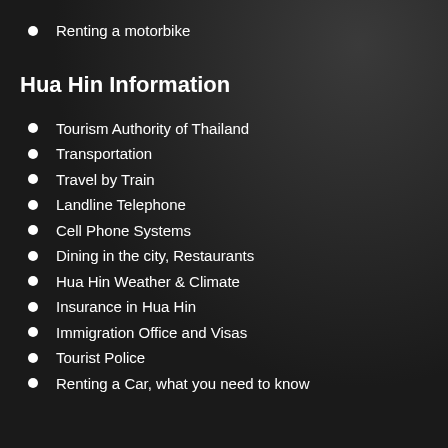Renting a motorbike
Hua Hin Information
Tourism Authority of Thailand
Transportation
Travel by Train
Landline Telephone
Cell Phone Systems
Dining in the city, Restaurants
Hua Hin Weather & Climate
Insurance in Hua Hin
Immigration Office and Visas
Tourist Police
Renting a Car, what you need to know